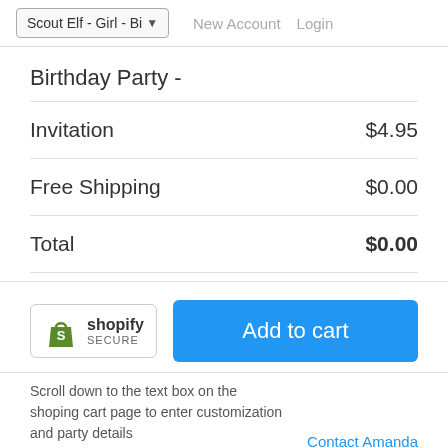Scout Elf - Girl - Bi... New Account Login
Birthday Party -
| Item | Price |
| --- | --- |
| Invitation | $4.95 |
| Free Shipping | $0.00 |
| Total | $0.00 |
[Figure (logo): Shopify Secure badge with green shopping bag logo]
Add to cart
Scroll down to the text box on the shoping cart page to enter customization and party details
Contact Amanda